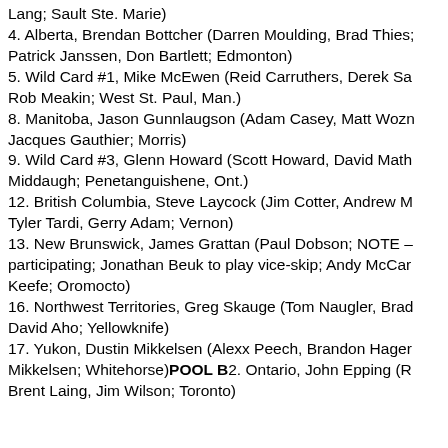Lang; Sault Ste. Marie)
4. Alberta, Brendan Bottcher (Darren Moulding, Brad Thies; Patrick Janssen, Don Bartlett; Edmonton)
5. Wild Card #1, Mike McEwen (Reid Carruthers, Derek Sa Rob Meakin; West St. Paul, Man.)
8. Manitoba, Jason Gunnlaugson (Adam Casey, Matt Wozn Jacques Gauthier; Morris)
9. Wild Card #3, Glenn Howard (Scott Howard, David Math Middaugh; Penetanguishene, Ont.)
12. British Columbia, Steve Laycock (Jim Cotter, Andrew N Tyler Tardi, Gerry Adam; Vernon)
13. New Brunswick, James Grattan (Paul Dobson; NOTE – participating; Jonathan Beuk to play vice-skip; Andy McCar Keefe; Oromocto)
16. Northwest Territories, Greg Skauge (Tom Naugler, Brad David Aho; Yellowknife)
17. Yukon, Dustin Mikkelsen (Alexx Peech, Brandon Hager Mikkelsen; Whitehorse)POOL B2. Ontario, John Epping (R Brent Laing, Jim Wilson; Toronto)